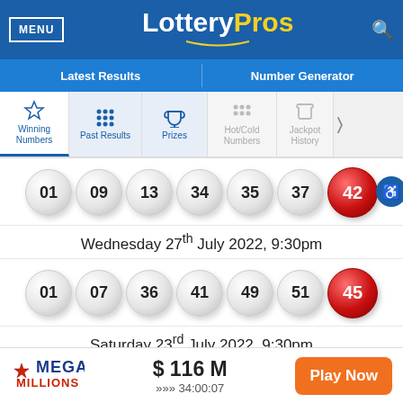MENU | LotteryPros | [search icon]
Latest Results | Number Generator
Winning Numbers | Past Results | Prizes | Hot/Cold Numbers | Jackpot History
01  09  13  34  35  37  42
Wednesday 27th July 2022, 9:30pm
01  07  36  41  49  51  45
Saturday 23rd July 2022, 9:30pm
MEGA MILLIONS  $116M  >>> 34:00:07  Play Now